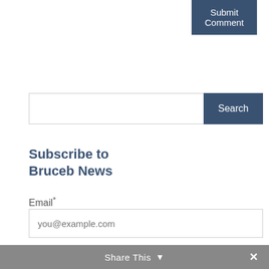Submit Comment
[Figure (screenshot): Search input bar with a Search button on the right]
Subscribe to Bruceb News
Email*
you@example.com
Subscribe
Share This ∨  ✕